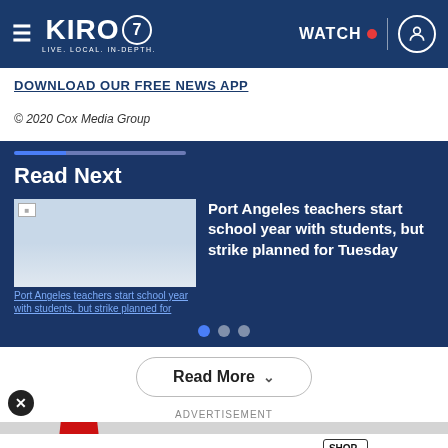KIRO 7 - LIVE. LOCAL. IN-DEPTH. | WATCH
DOWNLOAD OUR FREE NEWS APP
© 2020 Cox Media Group
Read Next
[Figure (screenshot): Thumbnail image placeholder for Port Angeles teachers article with broken image icon and link text]
Port Angeles teachers start school year with students, but strike planned for Tuesday
Read More
ADVERTISEMENT
[Figure (screenshot): Bloomingdales advertisement banner: View Today's Top Deals! SHOP NOW > with red shape graphic and oola Feed branding]